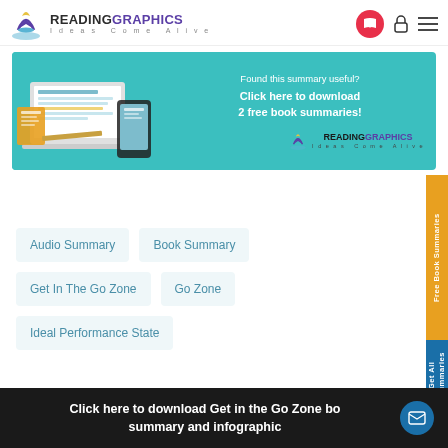READINGRAPHICS Ideas Come Alive
[Figure (screenshot): ReadingGraphics promotional banner with teal background showing laptop/phone devices and text: Found this summary useful? Click here to download 2 free book summaries! ReadingGraphics logo.]
Audio Summary
Book Summary
Get In The Go Zone
Go Zone
Ideal Performance State
Free Book Summaries
Get All Summaries
Click here to download Get in the Go Zone book summary and infographic